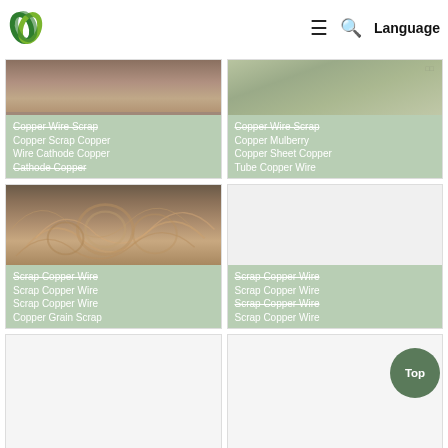[Figure (screenshot): Website navigation bar with green leaf logo, hamburger menu, search icon, and Language button]
[Figure (photo): Copper wire scrap product card with image of copper wire coils at top]
Copper Wire Scrap Copper Scrap Copper Wire Cathode Copper Cathode Copper
[Figure (photo): Copper wire scrap product card with image of tangled copper wires]
Copper Wire Scrap Copper Mulberry Copper Sheet Copper Tube Copper Wire
[Figure (photo): Scrap copper wire product card with copper wire image]
Scrap Copper Wire Scrap Copper Wire Scrap Copper Wire Copper Grain Scrap
[Figure (photo): Scrap copper wire product card blank]
Scrap Copper Wire Scrap Copper Wire Scrap Copper Wire Scrap Copper Wire
[Figure (photo): Lower left product card - partially visible]
[Figure (photo): Lower right product card - partially visible]